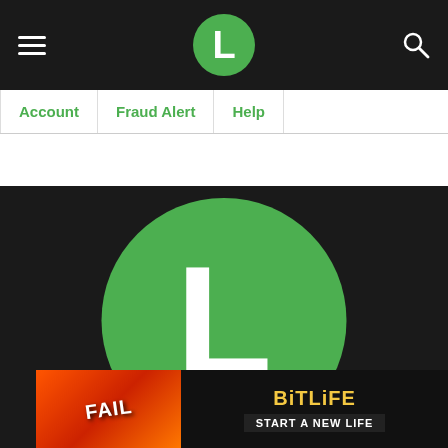[Figure (screenshot): Dark navigation bar with hamburger menu icon on left, green circle logo with white letter L in center, and magnifying glass search icon on right]
Account   Fraud Alert   Help
[Figure (logo): Large green circle with white letter L in the center, displayed on a dark background — company logo]
Close X
[Figure (screenshot): BitLife advertisement banner with FAIL text on left over fire/explosion background and BitLife - START A NEW LIFE branding on the right dark section]